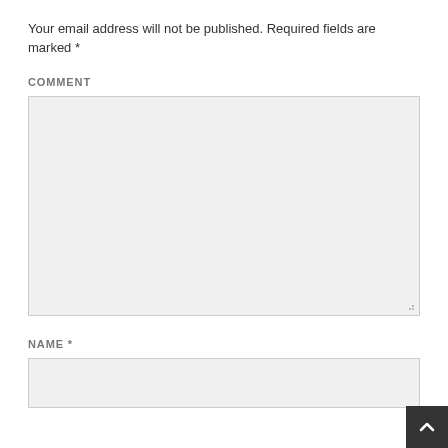Your email address will not be published. Required fields are marked *
COMMENT
[Figure (screenshot): Comment text area input field, large empty rectangle with light gray background and resize handle]
NAME *
[Figure (screenshot): Name text input field, empty rectangle with light gray background]